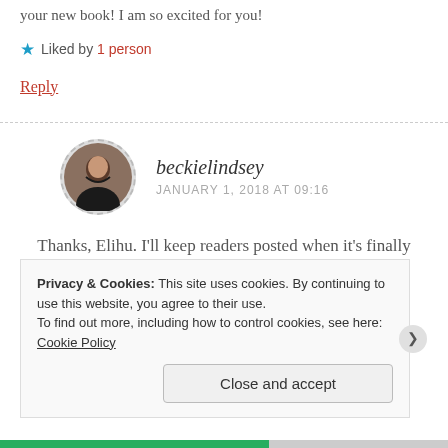Happy New Year Beckie! Congrats on the release of your new book! I am so excited for you!
Liked by 1 person
Reply
beckielindsey
JANUARY 1, 2018 AT 09:16
Thanks, Elihu. I'll keep readers posted when it's finally available. I DO know it will be in 2018!
Privacy & Cookies: This site uses cookies. By continuing to use this website, you agree to their use. To find out more, including how to control cookies, see here: Cookie Policy
Close and accept